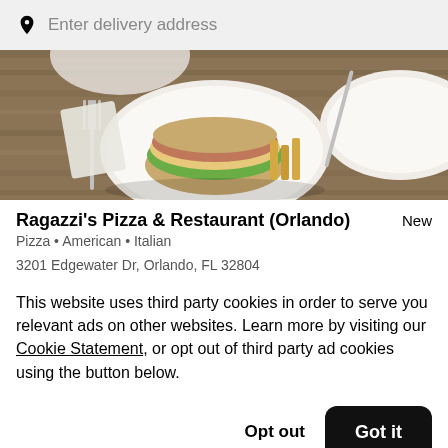Enter delivery address
[Figure (photo): Food photo showing a club sandwich on a white plate with cutlery on a rustic wooden table]
Ragazzi's Pizza & Restaurant (Orlando)
Pizza • American • Italian
3201 Edgewater Dr, Orlando, FL 32804
This website uses third party cookies in order to serve you relevant ads on other websites. Learn more by visiting our Cookie Statement, or opt out of third party ad cookies using the button below.
Opt out
Got it